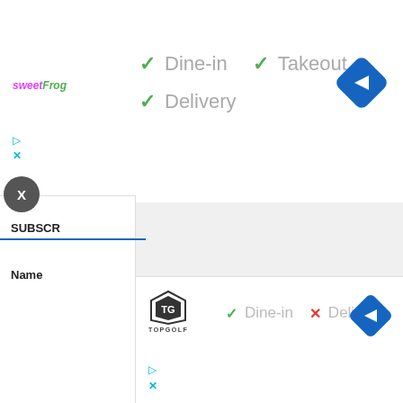[Figure (screenshot): Screenshot of Google Maps-style business listing for sweetFrog showing Dine-in, Takeout, and Delivery options with green checkmarks, a blue navigation icon, and a collapse/chevron tab.]
[Figure (screenshot): Screenshot of Google Maps-style business listing for Topgolf showing Dine-in with green checkmark and Delivery with red X, a blue navigation icon, along with left panel showing SUBSCR and Name labels.]